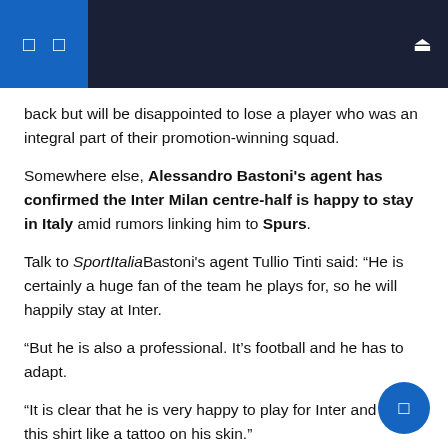Navigation header bar with icons
back but will be disappointed to lose a player who was an integral part of their promotion-winning squad.
Somewhere else, Alessandro Bastoni's agent has confirmed the Inter Milan centre-half is happy to stay in Italy amid rumors linking him to Spurs.
Talk to SportItalia Bastoni's agent Tullio Tinti said: “He is certainly a huge fan of the team he plays for, so he will happily stay at Inter.
“But he is also a professional. It’s football and he has to adapt.
“It is clear that he is very happy to play for Inter and feels this shirt like a tattoo on his skin.”